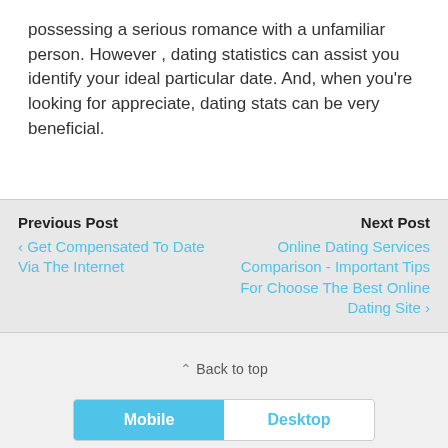possessing a serious romance with a unfamiliar person. However , dating statistics can assist you identify your ideal particular date. And, when you're looking for appreciate, dating stats can be very beneficial.
Previous Post
‹ Get Compensated To Date Via The Internet
Next Post
Online Dating Services Comparison - Important Tips For Choose The Best Online Dating Site ›
⌃ Back to top
Mobile | Desktop